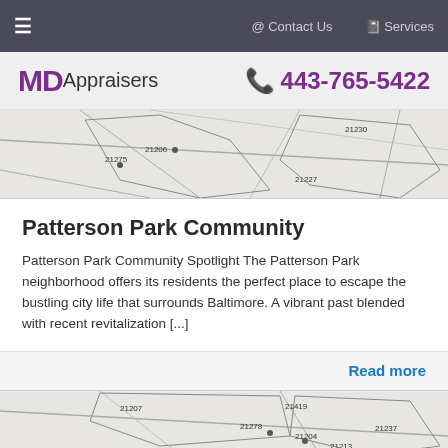≡  @ Contact Us   🗓 Services
[Figure (logo): MD Appraisers logo with phone number 443-765-5422]
[Figure (map): Partial map of Baltimore area zip codes including 21227, 21230]
Patterson Park Community
Patterson Park Community Spotlight The Patterson Park neighborhood offers its residents the perfect place to escape the bustling city life that surrounds Baltimore. A vibrant past blended with recent revitalization [...]
Read more
[Figure (map): Partial map of Baltimore area zip codes including 21207, 21278, 21237, 21213]
Order Your Appraisal